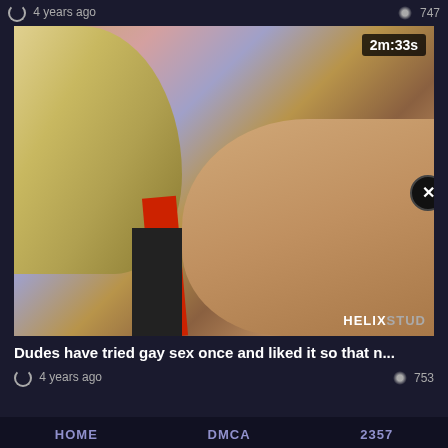4 years ago   747
[Figure (photo): Close-up photo of two people kissing, one with blonde hair, with a red strap and black comb visible. Duration badge shows 2m:33s. Watermark reads HELIXSTUD. Close button (X) on right side.]
Dudes have tried gay sex once and liked it so that n...
4 years ago   753
HOME   DMCA   2357